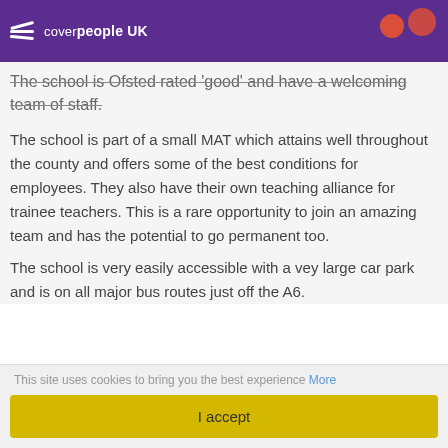cover people UK
The school is Ofsted rated 'good' and have a welcoming team of staff.
The school is part of a small MAT which attains well throughout the county and offers some of the best conditions for employees. They also have their own teaching alliance for trainee teachers. This is a rare opportunity to join an amazing team and has the potential to go permanent too.
The school is very easily accessible with a vey large car park and is on all major bus routes just off the A6.
This site uses cookies to bring you the best experience More